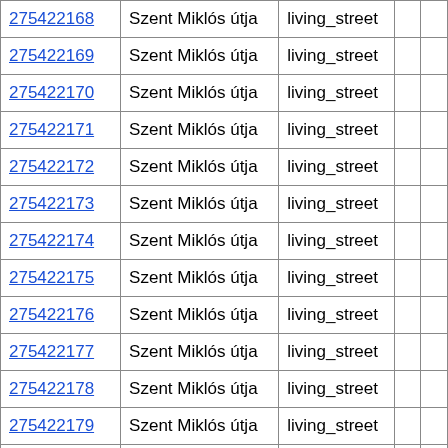| 275422168 | Szent Miklós útja | living_street |  |  |
| 275422169 | Szent Miklós útja | living_street |  |  |
| 275422170 | Szent Miklós útja | living_street |  |  |
| 275422171 | Szent Miklós útja | living_street |  |  |
| 275422172 | Szent Miklós útja | living_street |  |  |
| 275422173 | Szent Miklós útja | living_street |  |  |
| 275422174 | Szent Miklós útja | living_street |  |  |
| 275422175 | Szent Miklós útja | living_street |  |  |
| 275422176 | Szent Miklós útja | living_street |  |  |
| 275422177 | Szent Miklós útja | living_street |  |  |
| 275422178 | Szent Miklós útja | living_street |  |  |
| 275422179 | Szent Miklós útja | living_street |  |  |
| 275430333 | Posta köz | living_street |  |  |
| 275439614 | Dalos utca | living_street |  |  |
| 275484465 | Városkert utca | unclassified |  |  |
| 275484466 | Városkert utca | unclassified |  |  |
| 275484467 | Városkert utca | unclassified |  |  |